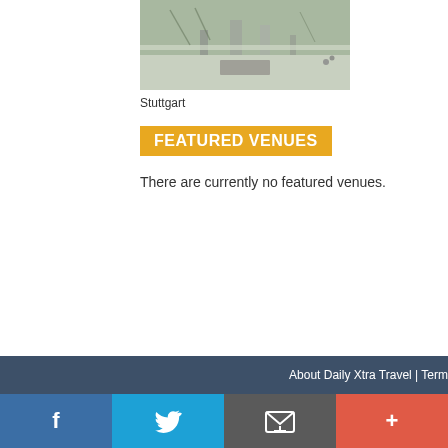[Figure (photo): Aerial/street view photo of Stuttgart city scene in winter with snow]
Stuttgart
FEATURED VENUES
There are currently no featured venues.
About Daily Xtra Travel | Term
[Figure (infographic): Social media share bar with Facebook, Twitter, email, and plus icons]